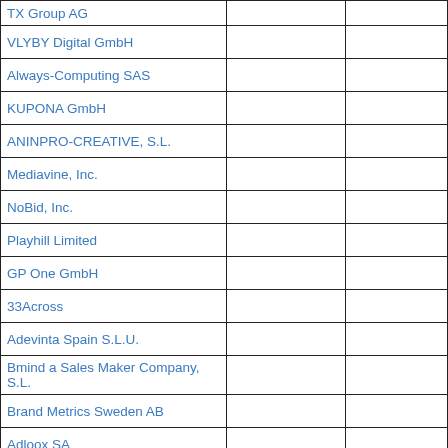| TX Group AG |  |  |
| VLYBY Digital GmbH |  |  |
| Always-Computing SAS |  |  |
| KUPONA GmbH |  |  |
| ANINPRO-CREATIVE, S.L. |  |  |
| Mediavine, Inc. |  |  |
| NoBid, Inc. |  |  |
| Playhill Limited |  |  |
| GP One GmbH |  |  |
| 33Across |  |  |
| Adevinta Spain S.L.U. |  |  |
| Bmind a Sales Maker Company, S.L. |  |  |
| Brand Metrics Sweden AB |  |  |
| Adloox SA |  |  |
| Adssets AB |  |  |
| Converge-Digital |  |  |
| Sift Media, Inc |  |  |
| Aniview LTD |  |  |
| agof studies |  |  |
| Online Solution |  |  |